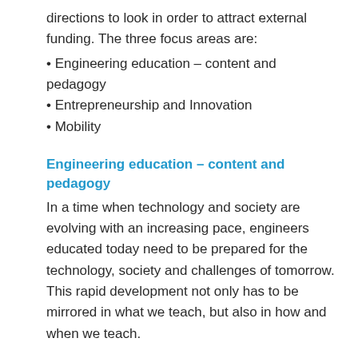directions to look in order to attract external funding. The three focus areas are:
• Engineering education – content and pedagogy
• Entrepreneurship and Innovation
• Mobility
Engineering education – content and pedagogy
In a time when technology and society are evolving with an increasing pace, engineers educated today need to be prepared for the technology, society and challenges of tomorrow. This rapid development not only has to be mirrored in what we teach, but also in how and when we teach.
Entrepreneurship and Innovation
To remain competitive in an era of globalization the Nordic Baltic region needs to be in the forefront of transferring innovations to market. Transferring innovations is also a key factor when addressing the grand challenges such as building a